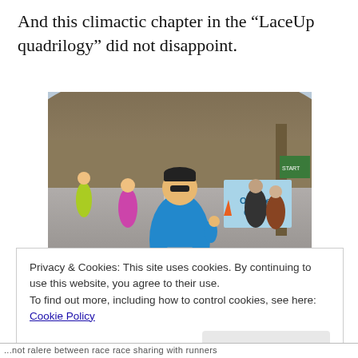And this climactic chapter in the “LaceUp quadrilogy” did not disappoint.
[Figure (photo): A runner wearing a blue LaceUp shirt and race bib giving a thumbs up while running a race. Other runners and spectators visible in the background, along with an Orange Coast banner and a Lexus logo watermark.]
Privacy & Cookies: This site uses cookies. By continuing to use this website, you agree to their use.
To find out more, including how to control cookies, see here: Cookie Policy
...not ralere between race race sharing with runners